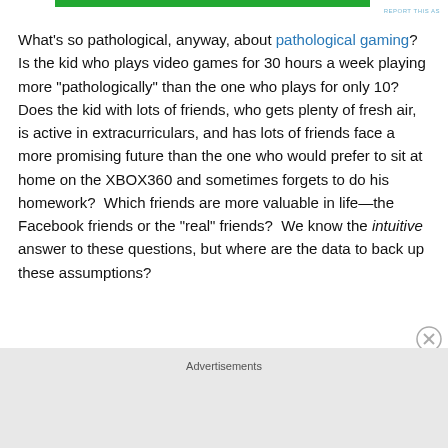What's so pathological, anyway, about pathological gaming?  Is the kid who plays video games for 30 hours a week playing more “pathologically” than the one who plays for only 10?  Does the kid with lots of friends, who gets plenty of fresh air, is active in extracurriculars, and has lots of friends face a more promising future than the one who would prefer to sit at home on the XBOX360 and sometimes forgets to do his homework?  Which friends are more valuable in life—the Facebook friends or the “real” friends?  We know the intuitive answer to these questions, but where are the data to back up these assumptions?
Advertisements